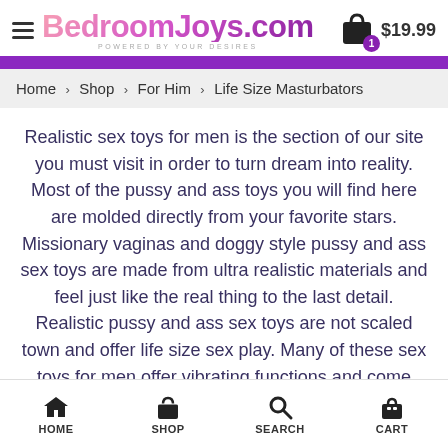BedroomJoys.com — POWERED BY YOUR DESIRES — $19.99 cart (1 item)
Home > Shop > For Him > Life Size Masturbators
Realistic sex toys for men is the section of our site you must visit in order to turn dream into reality. Most of the pussy and ass toys you will find here are molded directly from your favorite stars. Missionary vaginas and doggy style pussy and ass sex toys are made from ultra realistic materials and feel just like the real thing to the last detail. Realistic pussy and ass sex toys are not scaled town and offer life size sex play. Many of these sex toys for men offer vibrating functions and come
HOME  SHOP  SEARCH  CART